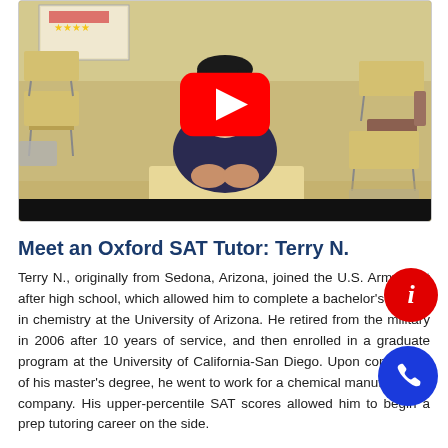[Figure (screenshot): YouTube video thumbnail showing a young female student sitting at a school desk in a classroom with empty desks around her, with a red YouTube play button overlay in the center and a black control bar at the bottom.]
Meet an Oxford SAT Tutor: Terry N.
Terry N., originally from Sedona, Arizona, joined the U.S. Army right after high school, which allowed him to complete a bachelor's degree in chemistry at the University of Arizona. He retired from the military in 2006 after 10 years of service, and then enrolled in a graduate program at the University of California-San Diego. Upon completion of his master's degree, he went to work for a chemical manufacturing company. His upper-percentile SAT scores allowed him to begin a prep tutoring career on the side.